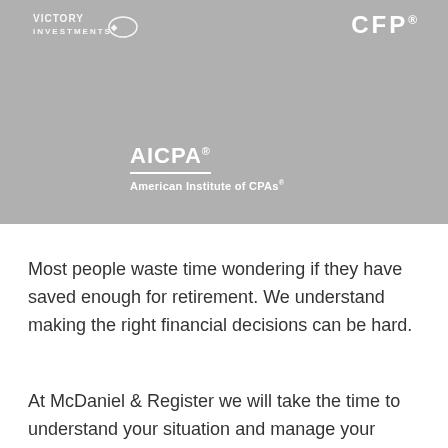[Figure (logo): Victory Investments logo (white text on gray background), top left of banner]
[Figure (logo): CFP logo (white bold letters on gray background), top right of banner]
[Figure (logo): AICPA logo with tagline 'American Institute of CPAs' in white on gray background, center-left of banner]
Most people waste time wondering if they have saved enough for retirement. We understand making the right financial decisions can be hard.
At McDaniel & Register we will take the time to understand your situation and manage your